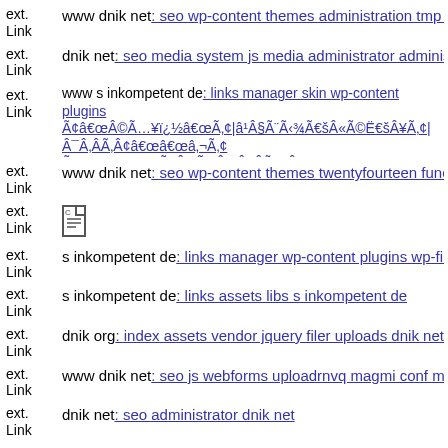ext. Link  www dnik net: seo wp-content themes administration tmp imag...
ext. Link  dnik net: seo media system js media administrator administrato...
ext. Link  www s inkompetent de: links manager skin wp-content plugins Ã¢âIÂ©Ã¥ï¿½âIÃ¢|â¹Â§Ã¨Å¾ÃIÂ«Ã©ËÂ¥Ã¢|Â¯ÂÃÂ¢âIâ¢Ã¢âIâ¢Ã®ÆÂ¾Â¯ÂÃÂ¼Â¢|Ã¢ï¿½âIÂ¯Â¸Â¹Â¯Â¿Â½Â¢|Â«
ext. Link  www dnik net: seo wp-content themes twentyfourteen function...
ext. Link  [document icon]
ext. Link  s inkompetent de: links manager wp-content plugins wp-file-m...
ext. Link  s inkompetent de: links assets libs s inkompetent de
ext. Link  dnik org: index assets vendor jquery filer uploads dnik net 166...
ext. Link  www dnik net: seo js webforms uploadrnvq magmi conf magm...
ext. Link  dnik net: seo administrator dnik net
ext. Link  dnik net: seo administrator components com bt portfolio compo...